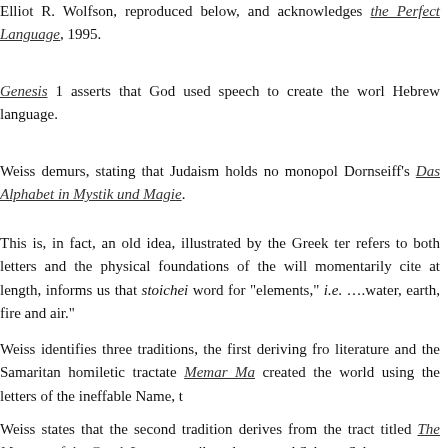Elliot R. Wolfson, reproduced below, and acknowledges the Perfect Language, 1995.
Genesis 1 asserts that God used speech to create the world Hebrew language.
Weiss demurs, stating that Judaism holds no monopoly Dornseiff's Das Alphabet in Mystik und Magie.
This is, in fact, an old idea, illustrated by the Greek term refers to both letters and the physical foundations of the will momentarily cite at length, informs us that stoichei word for "elements," i.e. ….water, earth, fire and air."
Weiss identifies three traditions, the first deriving from literature and the Samaritan homiletic tractate Memar Ma created the world using the letters of the ineffable Name, t
Weiss states that the second tradition derives from the tract titled The Mystery of the Greek Letters, attributed to named Saba or Sabas.